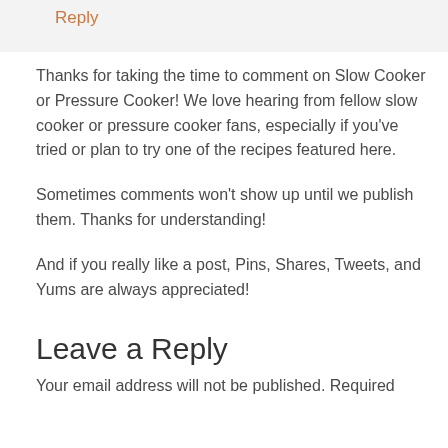Reply
Thanks for taking the time to comment on Slow Cooker or Pressure Cooker! We love hearing from fellow slow cooker or pressure cooker fans, especially if you've tried or plan to try one of the recipes featured here.
Sometimes comments won't show up until we publish them. Thanks for understanding!
And if you really like a post, Pins, Shares, Tweets, and Yums are always appreciated!
Leave a Reply
Your email address will not be published. Required